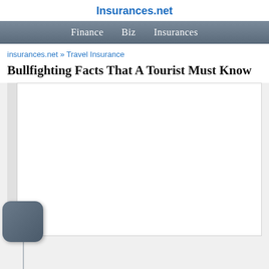Insurances.net
Finance   Biz   Insurances
insurances.net » Travel Insurance
Bullfighting Facts That A Tourist Must Know
[Figure (other): White content area with left sidebar and a dark rounded square icon/button in the lower left area of the image placeholder region]